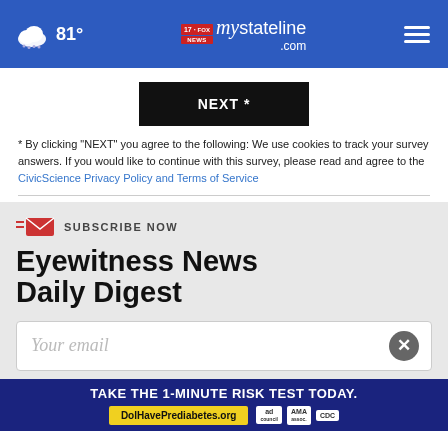81° mystateline.com
NEXT *
* By clicking "NEXT" you agree to the following: We use cookies to track your survey answers. If you would like to continue with this survey, please read and agree to the CivicScience Privacy Policy and Terms of Service
SUBSCRIBE NOW
Eyewitness News Daily Digest
Your email
TAKE THE 1-MINUTE RISK TEST TODAY. DolHavePrediabetes.org